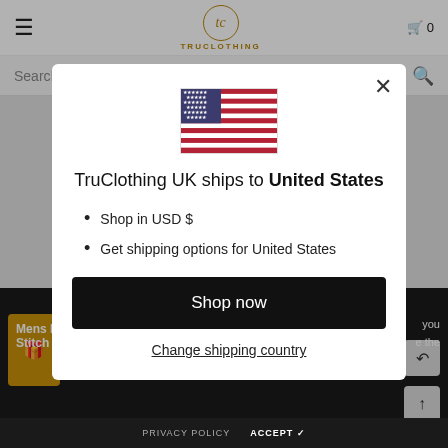[Figure (screenshot): TruClothing UK website background with navigation bar showing hamburger menu, TruClothing logo, and cart icon; search bar; grey background; dark bottom area with product text]
[Figure (illustration): United States flag displayed in modal dialog]
TruClothing UK ships to United States
Shop in USD $
Get shipping options for United States
Shop now
Change shipping country
PRIVACY POLICY   ACCEPT ✓